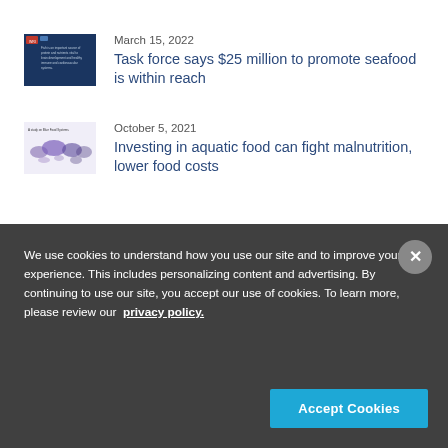[Figure (photo): Thumbnail image for seafood article – dark blue background with red marker and small text about fish protein and nutrients]
March 15, 2022
Task force says $25 million to promote seafood is within reach
[Figure (map): Thumbnail world map image showing aquatic food distribution in purple/blue tones]
October 5, 2021
Investing in aquatic food can fight malnutrition, lower food costs
Join the Conversation
We use cookies to understand how you use our site and to improve your experience. This includes personalizing content and advertising. By continuing to use our site, you accept our use of cookies. To learn more, please review our privacy policy.